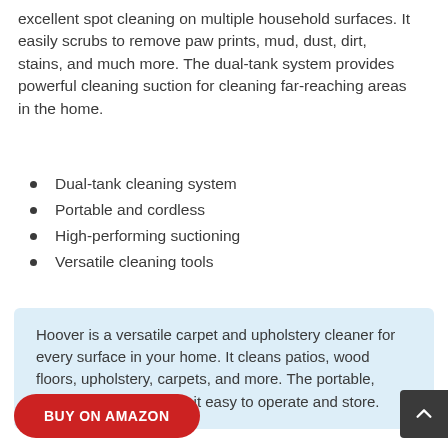excellent spot cleaning on multiple household surfaces. It easily scrubs to remove paw prints, mud, dust, dirt, stains, and much more. The dual-tank system provides powerful cleaning suction for cleaning far-reaching areas in the home.
Dual-tank cleaning system
Portable and cordless
High-performing suctioning
Versatile cleaning tools
Hoover is a versatile carpet and upholstery cleaner for every surface in your home. It cleans patios, wood floors, upholstery, carpets, and more. The portable, compact design makes it easy to operate and store.
BUY ON AMAZON